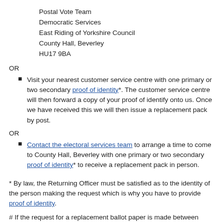Postal Vote Team
Democratic Services
East Riding of Yorkshire Council
County Hall, Beverley
HU17 9BA
OR
Visit your nearest customer service centre with one primary or two secondary proof of identity*. The customer service centre will then forward a copy of your proof of identify onto us. Once we have received this we will then issue a replacement pack by post.
OR
Contact the electoral services team to arrange a time to come to County Hall, Beverley with one primary or two secondary proof of identity* to receive a replacement pack in person.
* By law, the Returning Officer must be satisfied as to the identity of the person making the request which is why you have to provide proof of identity.
# If the request for a replacement ballot paper is made between 5pm, the day before polling day and by 5pm on polling day itself, in these circumstances the replacement pack can only be issued by hand. Please contact the electoral services team to arrange a time to collect your replacement postal vote pack in person (along with one primary or two secondary proof of identity* if you have